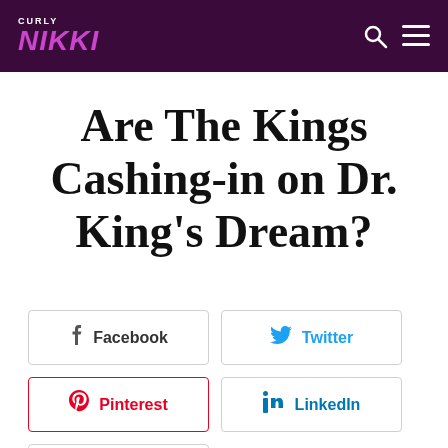CURLY NIKKI — navigation header with search and menu icons
Are The Kings Cashing-in on Dr. King's Dream?
Facebook
Twitter
Pinterest
LinkedIn
Email